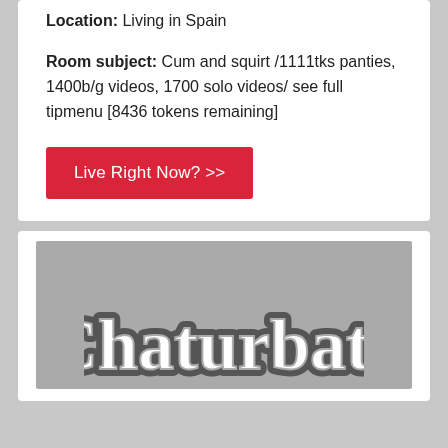Location: Living in Spain
Room subject: Cum and squirt /1111tks panties, 1400b/g videos, 1700 solo videos/ see full tipmenu [8436 tokens remaining]
Live Right Now? >>
[Figure (logo): Chaturbate logo on grey thumbnail background]